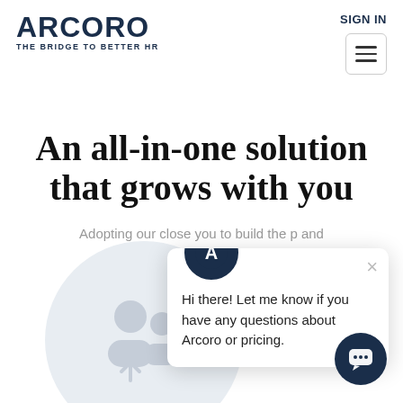[Figure (logo): Arcoro logo with text 'ARCORO' in bold dark navy and tagline 'THE BRIDGE TO BETTER HR']
SIGN IN
An all-in-one solution that grows with you
Adopting our close... you to build the p... and
[Figure (screenshot): Chat popup with Arcoro avatar icon and message: Hi there! Let me know if you have any questions about Arcoro or pricing.]
[Figure (illustration): Light grey circle with people/HR icon illustration in the background]